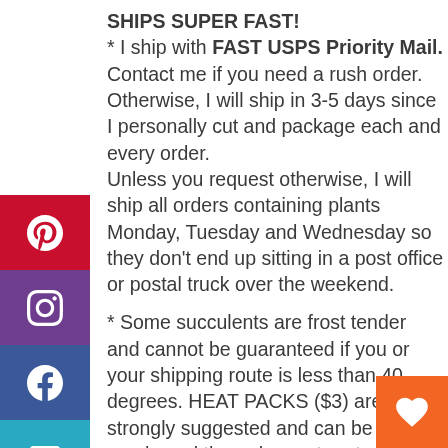SHIPS SUPER FAST!
* I ship with FAST USPS Priority Mail. Contact me if you need a rush order. Otherwise, I will ship in 3-5 days since I personally cut and package each and every order.
Unless you request otherwise, I will ship all orders containing plants Monday, Tuesday and Wednesday so they don't end up sitting in a post office or postal truck over the weekend.

* Some succulents are frost tender and cannot be guaranteed if you or your shipping route is less than 40 degrees. HEAT PACKS ($3) are strongly suggested and can be purchased through my store to ship with your gift. The packs last 72 hours and raise the temperature in the box 10-15 degrees.

*** I usually ship with USPS Priority Flat Rate boxes but I can get you a quote to ship with a Regional Rate box or another shipping method depending on weight and how many pads I can fit in the box.